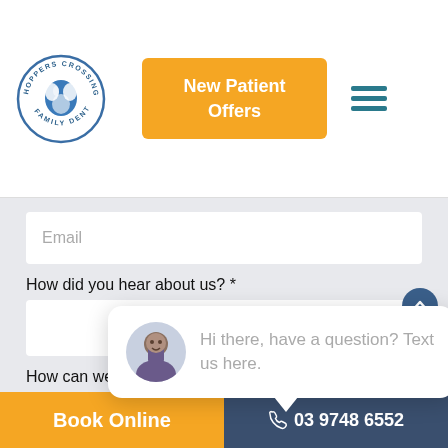[Figure (logo): Hoppers Crossing Family Dentist circular logo with tooth icon]
New Patient Offers
[Figure (other): Hamburger menu icon (three horizontal lines)]
Email
How did you hear about us? *
close
How can we
[Figure (other): Chat popup with avatar and message: Hi there, have a question? Text us here.]
Hi there, have a question? Text us here.
Book Online
03 9748 6552